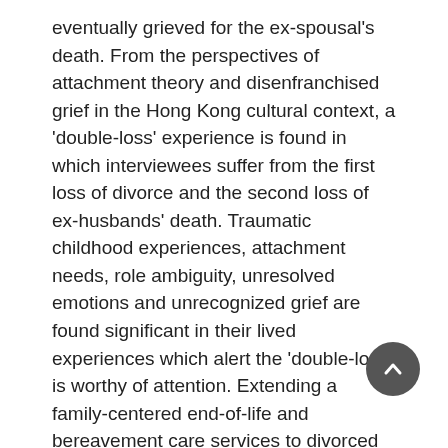eventually grieved for the ex-spousal's death. From the perspectives of attachment theory and disenfranchised grief in the Hong Kong cultural context, a 'double-loss' experience is found in which interviewees suffer from the first loss of divorce and the second loss of ex-husbands' death. Traumatic childhood experiences, attachment needs, role ambiguity, unresolved emotions and unrecognized grief are found significant in their lived experiences which alert the 'double-loss' is worthy of attention. Extending a family-centered end-of-life and bereavement care services to divorced couples is called for, in which validation on the attachment needs, ex-couple reconciliation, and acknowledgement on the disenfranchised grief are essential for social work practice on this group of clienteles specifically in Hong Kong cultural context.
Keywords: changing family, disenfranchised grief